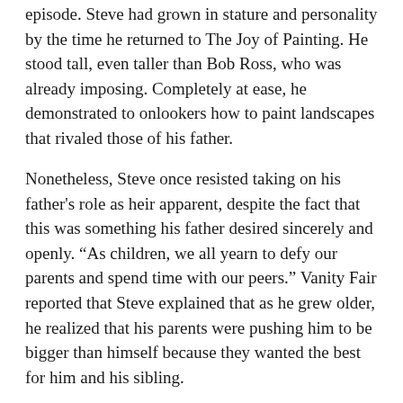episode. Steve had grown in stature and personality by the time he returned to The Joy of Painting. He stood tall, even taller than Bob Ross, who was already imposing. Completely at ease, he demonstrated to onlookers how to paint landscapes that rivaled those of his father.
Nonetheless, Steve once resisted taking on his father's role as heir apparent, despite the fact that this was something his father desired sincerely and openly. “As children, we all yearn to defy our parents and spend time with our peers.” Vanity Fair reported that Steve explained that as he grew older, he realized that his parents were pushing him to be bigger than himself because they wanted the best for him and his sibling.
What Happened To Bob Ross’s Son?